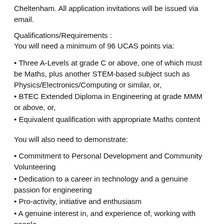Cheltenham. All application invitations will be issued via email.
Qualifications/Requirements :
You will need a minimum of 96 UCAS points via:
Three A-Levels at grade C or above, one of which must be Maths, plus another STEM-based subject such as Physics/Electronics/Computing or similar, or,
BTEC Extended Diploma in Engineering at grade MMM or above, or,
Equivalent qualification with appropriate Maths content
You will also need to demonstrate:
Commitment to Personal Development and Community Volunteering
Dedication to a career in technology and a genuine passion for engineering
Pro-activity, initiative and enthusiasm
A genuine interest in, and experience of, working with people
An analytic and collaborative approach to problem-solving
An awareness of the GE Aviation Systems Cheltenham business, including our products and customers
In addition to GI… (continues)